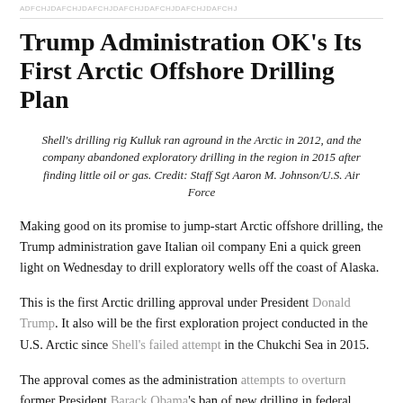ADFCHJDAFCHJDAFCHJDAFCHJDAFCHJDAFCHJDAFCHJ
Trump Administration OK's Its First Arctic Offshore Drilling Plan
Shell's drilling rig Kulluk ran aground in the Arctic in 2012, and the company abandoned exploratory drilling in the region in 2015 after finding little oil or gas. Credit: Staff Sgt Aaron M. Johnson/U.S. Air Force
Making good on its promise to jump-start Arctic offshore drilling, the Trump administration gave Italian oil company Eni a quick green light on Wednesday to drill exploratory wells off the coast of Alaska.
This is the first Arctic drilling approval under President Donald Trump. It also will be the first exploration project conducted in the U.S. Arctic since Shell's failed attempt in the Chukchi Sea in 2015.
The approval comes as the administration attempts to overturn former President Barack Obama's ban of new drilling in federal Arctic